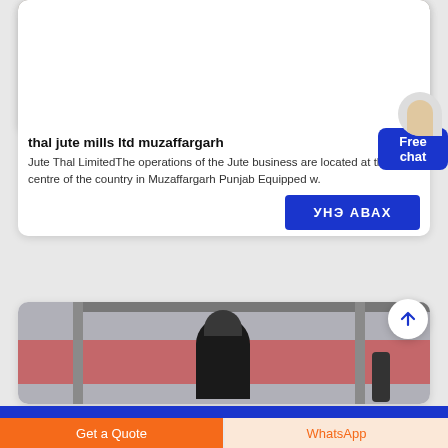[Figure (photo): Industrial facility with rock/rubble piles and large concrete pillars and steel structure in background]
thal jute mills ltd muzaffargarh
Jute Thal LimitedThe operations of the Jute business are located at the centre of the country in Muzaffargarh Punjab Equipped w.
[Figure (other): Free chat widget with lady illustration and blue background]
УНЭ АВАХ
[Figure (photo): Industrial machinery/mill equipment with scaffolding and red banner in background]
Get a Quote
WhatsApp